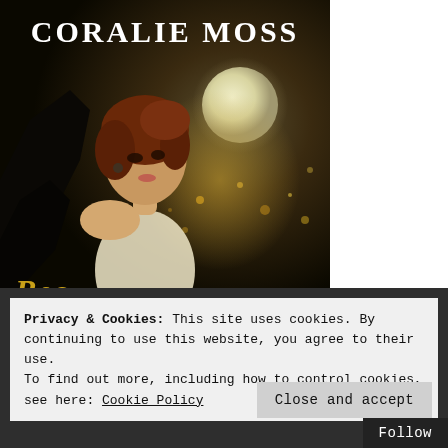[Figure (illustration): Book cover for 'Coralie Moss' showing a woman with auburn hair looking over her shoulder against a dark, moonlit fantasy background with golden sparkles and rocky silhouettes. Author name 'CORALIE MOSS' in large white serif capitals at top. Partial book title visible in gold italic at bottom.]
Privacy & Cookies: This site uses cookies. By continuing to use this website, you agree to their use.
To find out more, including how to control cookies, see here: Cookie Policy
Close and accept
Follow